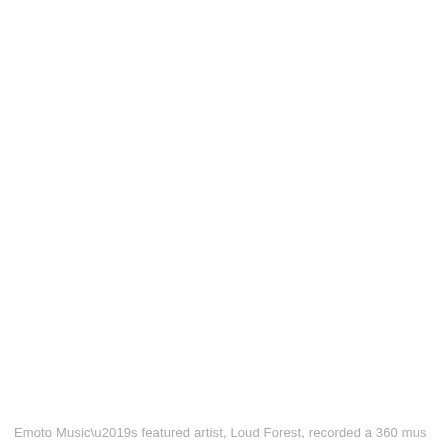Emoto Music’s featured artist, Loud Forest, recorded a 360 mus